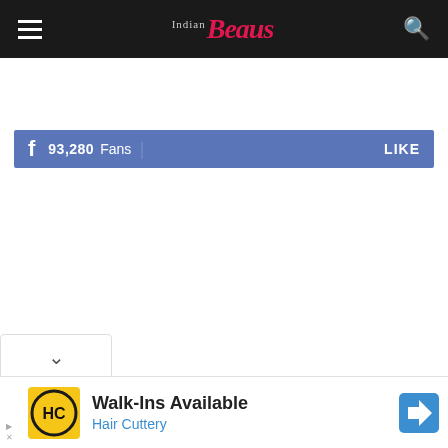Indian Beauty — navigation header with hamburger menu, logo, and search icon
93,280 Fans  LIKE
[Figure (screenshot): Chevron / dropdown toggle button]
[Figure (infographic): Advertisement: Walk-Ins Available — Hair Cuttery, with HC logo and direction arrow icon]